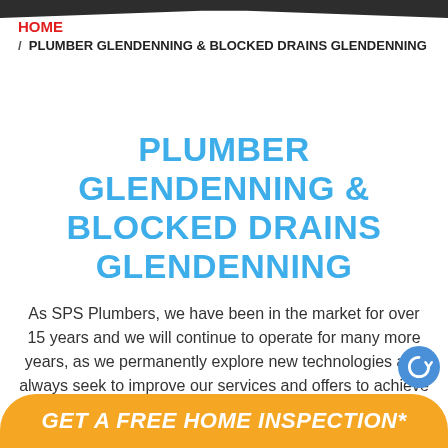HOME / PLUMBER GLENDENNING & BLOCKED DRAINS GLENDENNING
PLUMBER GLENDENNING & BLOCKED DRAINS GLENDENNING
As SPS Plumbers, we have been in the market for over 15 years and we will continue to operate for many more years, as we permanently explore new technologies and always seek to improve our services and offers to achieve better results every day. We provide a personalized attention because we know how important support and help
GET A FREE HOME INSPECTION*